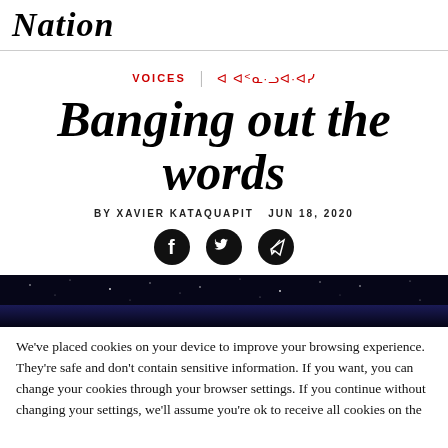Nation
VOICES | ᐊᐅᑉ·ᓗᐊ·ᐊᓯ
Banging out the words
BY XAVIER KATAQUAPIT JUN 18, 2020
[Figure (other): Social share icons: Facebook, Twitter, Telegram]
[Figure (photo): Dark starry night sky hero image]
We've placed cookies on your device to improve your browsing experience. They're safe and don't contain sensitive information. If you want, you can change your cookies through your browser settings. If you continue without changing your settings, we'll assume you're ok to receive all cookies on the